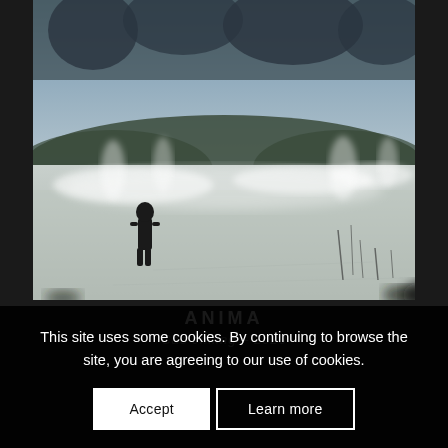[Figure (photo): A lone hooded figure standing on a frozen, misty landscape. Steam or fog rises from the ground. Bare trees and bushes in the background. Moody, cold, desaturated winter scene.]
ANIMA
Cao Jinling – 2020
This site uses some cookies. By continuing to browse the site, you are agreeing to our use of cookies.